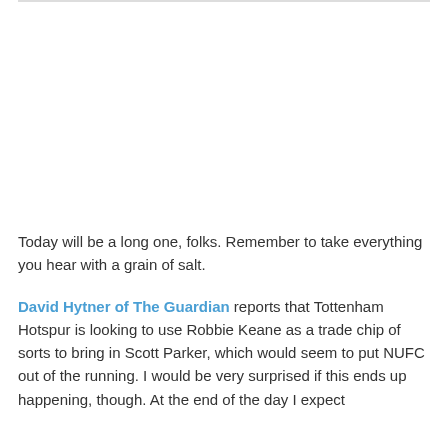Today will be a long one, folks. Remember to take everything you hear with a grain of salt.
David Hytner of The Guardian reports that Tottenham Hotspur is looking to use Robbie Keane as a trade chip of sorts to bring in Scott Parker, which would seem to put NUFC out of the running. I would be very surprised if this ends up happening, though. At the end of the day I expect